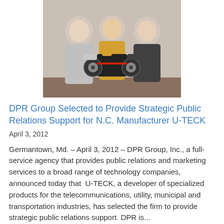[Figure (photo): Three people standing together, the person in the middle holding a black wheeled device/product with two wheels on each side.]
DPR Group Selected to Provide Strategic Public Relations Support for N.C. Manufacturer U-TECK
April 3, 2012
Germantown, Md. – April 3, 2012 – DPR Group, Inc., a full-service agency that provides public relations and marketing services to a broad range of technology companies, announced today that  U-TECK, a developer of specialized products for the telecommunications, utility, municipal and transportation industries, has selected the firm to provide strategic public relations support. DPR is...